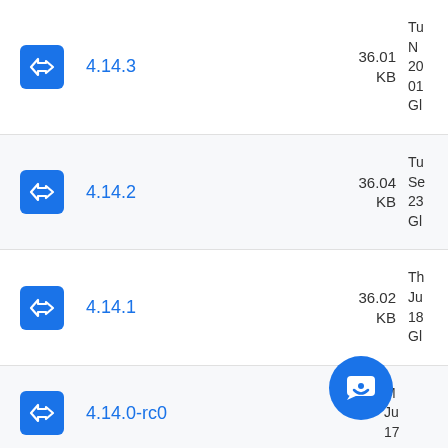4.14.3 — 36.01 KB — Tuesday, November 20, 01 — G...
4.14.2 — 36.04 KB — Tuesday, September 23 — G...
4.14.1 — 36.02 KB — Thursday, June 18 — G...
4.14.0-rc0 — KB — Monday, June 17 — ...